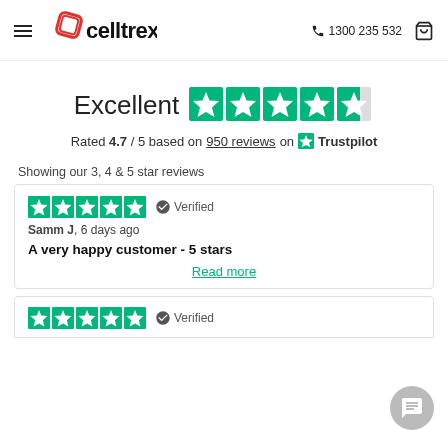celltrex. — 1300 235 532
Excellent — Rated 4.7 / 5 based on 950 reviews on Trustpilot
Showing our 3, 4 & 5 star reviews
Verified
Samm J, 6 days ago
A very happy customer - 5 stars
Read more
[Figure (other): Start of second review card with 5 green Trustpilot stars and Verified badge]